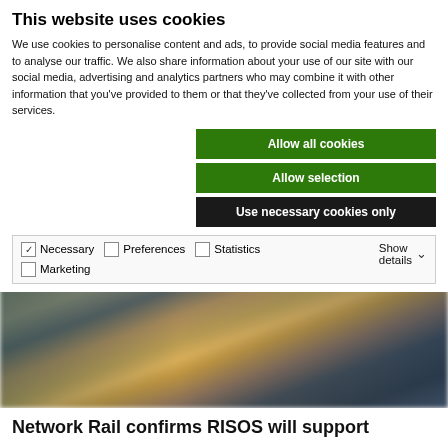This website uses cookies
We use cookies to personalise content and ads, to provide social media features and to analyse our traffic. We also share information about your use of our site with our social media, advertising and analytics partners who may combine it with other information that you've provided to them or that they've collected from your use of their services.
Allow all cookies
Allow selection
Use necessary cookies only
Necessary  Preferences  Statistics  Marketing  Show details
[Figure (photo): Blurred outdoor scene, possibly a street or railway environment, showing indistinct figures and structures with warm and cool tones]
Network Rail confirms RISOS will support